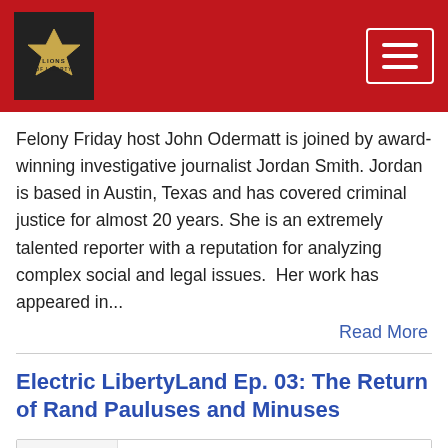Lions of Liberty Network
Felony Friday host John Odermatt is joined by award-winning investigative journalist Jordan Smith. Jordan is based in Austin, Texas and has covered criminal justice for almost 20 years. She is an extremely talented reporter with a reputation for analyzing complex social and legal issues.  Her work has appeared in...
Read More
Electric LibertyLand Ep. 03: The Return of Rand Pauluses and Minuses
[Figure (screenshot): Podcast player widget showing Lions of Liberty Network label, episode title 'Electric LibertyLand Ep. 03: The Return of Ran...', play button, progress bar, time 00:00:00, and control icons for RSS, download, embed, and headphones]
Jan 18, 2017